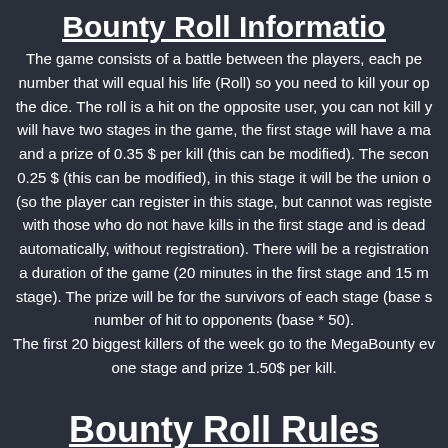Bounty Roll Information
The game consists of a battle between the players, each pe number that will equal his life (Roll) so you need to kill your op the dice. The roll is a hit on the opposite user, you can not kill y will have two stages in the game, the first stage will have a ma and a prize of 0.35 $ per kill (this can be modified). The secon 0.25 $ (this can be modified), in this stage it will be the union o (so the player can register in this stage, but cannot was registe with those who do not have kills in the first stage and is dea automatically, without registration). There will be a registration a duration of the game (20 minutes in the first stage and 15 m stage). The prize will be for the survivors of each stage (base number of hit to opponents (base * 50). The first 20 biggest killers of the week go to the MegaBounty e one stage and prize 1.50$ per kill.
Bounty Roll Rules
Verified accounts only (the Account Verification must be c
Players that "hide their username from the bet lists" cann